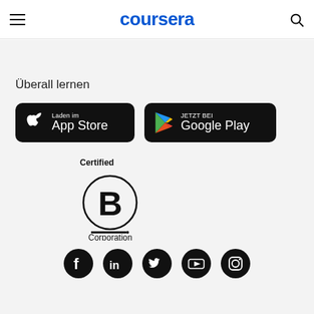coursera
Überall lernen
[Figure (logo): App Store button — black rounded rectangle with Apple logo and text 'Laden im App Store']
[Figure (logo): Google Play button — black rounded rectangle with Google Play triangle logo and text 'JETZT BEI Google Play']
[Figure (logo): Certified B Corporation logo — circle with B inside, underline, and 'Corporation' text]
[Figure (logo): Social media icons row: Facebook, LinkedIn, Twitter, YouTube, Instagram — all black circles]